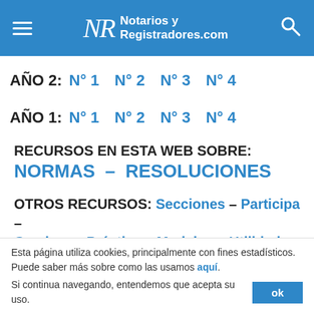[Figure (logo): Notarios y Registradores.com website header with hamburger menu, logo and search icon on blue background]
AÑO 2:  N° 1  N° 2  N° 3  N° 4
AÑO 1:  N° 1  N° 2  N° 3  N° 4
RECURSOS EN ESTA WEB SOBRE:
NORMAS  –  RESOLUCIONES
OTROS RECURSOS:  Secciones – Participa – Cuadros – Práctica – Modelos – Utilidades
Esta página utiliza cookies, principalmente con fines estadísticos. Puede saber más sobre como las usamos aquí. Si continua navegando, entendemos que acepta su uso.